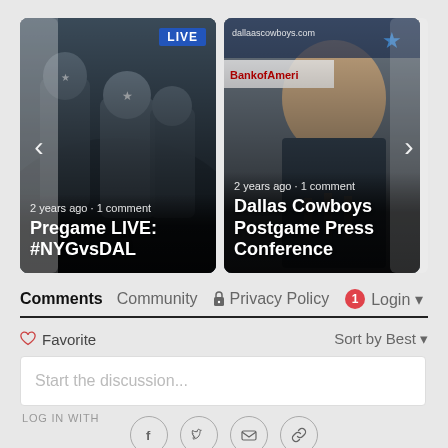[Figure (screenshot): Video carousel with two thumbnail cards. Left card: Cowboys pregame live video, '2 years ago · 1 comment', title 'Pregame LIVE: #NYGvsDAL'. Right card: Cowboys postgame press conference, '2 years ago · 1 comment', title 'Dallas Cowboys Postgame Press Conference'. Left and right navigation arrows visible.]
Comments  Community  🔒 Privacy Policy  1  Login ▾
♡ Favorite  Sort by Best ▾
Start the discussion...
LOG IN WITH
[Figure (infographic): Social login icons row: Facebook, Twitter, Email, Link icons in circles]